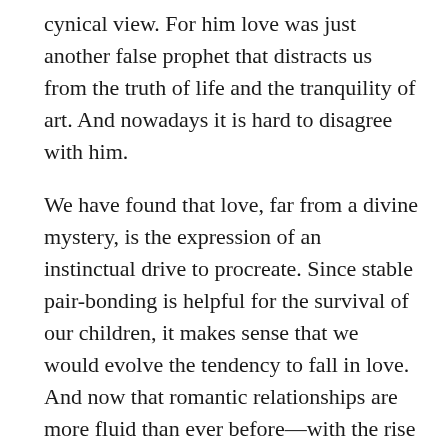cynical view. For him love was just another false prophet that distracts us from the truth of life and the tranquility of art. And nowadays it is hard to disagree with him.
We have found that love, far from a divine mystery, is the expression of an instinctual drive to procreate. Since stable pair-bonding is helpful for the survival of our children, it makes sense that we would evolve the tendency to fall in love. And now that romantic relationships are more fluid than ever before—with the rise of dating and divorce—we have clear and persistent evidence that even the strongest feelings of love do not necessarily, or even often, lead to permanent relationships.